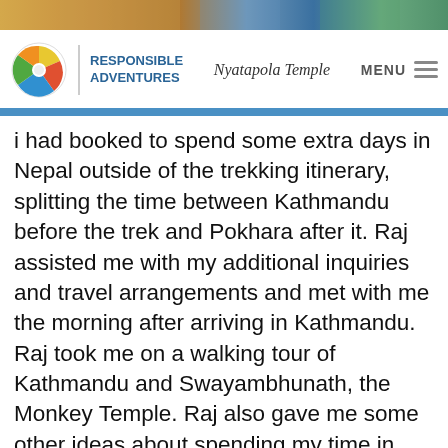[Figure (photo): Top strip photo of people/scenery in Nepal]
Nyatapola Temple | RESPONSIBLE ADVENTURES | MENU
i had booked to spend some extra days in Nepal outside of the trekking itinerary, splitting the time between Kathmandu before the trek and Pokhara after it. Raj assisted me with my additional inquiries and travel arrangements and met with me the morning after arriving in Kathmandu. Raj took me on a walking tour of Kathmandu and Swayambhunath, the Monkey Temple. Raj also gave me some other ideas about spending my time in Kathmandu. Knowing that I enjoyed cycling, I suggested I rent a bicycle and cycle to the medieval city of Bhaktapur in the Kathmandu Valley. This was quite an eventful ride and one I certainly could not have planned! Dodging the busy weekend traffic of the city and negotiating my way through the main and side streets was quite an experience and